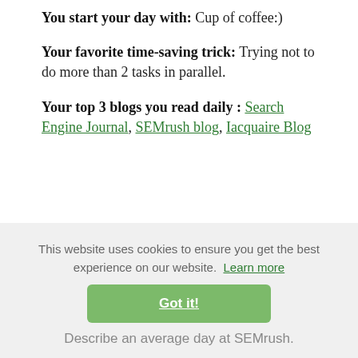You start your day with: Cup of coffee:)
Your favorite time-saving trick: Trying not to do more than 2 tasks in parallel.
Your top 3 blogs you read daily : Search Engine Journal, SEMrush blog, Iacquaire Blog
"We invested in a relationship with bloggers and other opinion leaders and that has paid us dividends."
This website uses cookies to ensure you get the best experience on our website. Learn more
Got it!
Describe an average day at SEMrush.